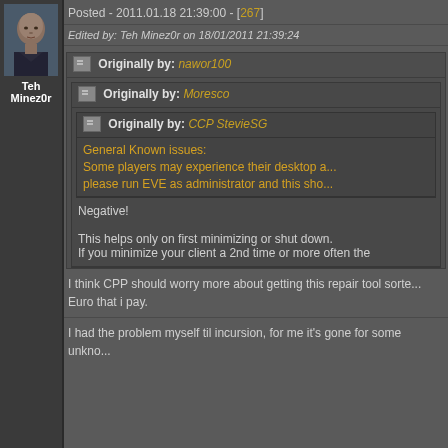[Figure (photo): Avatar image of a bald man wearing a dark outfit, sci-fi game character portrait]
Teh Minez0r
Posted - 2011.01.18 21:39:00 - [267]
Edited by: Teh Minez0r on 18/01/2011 21:39:24
Originally by: nawor100
Originally by: Moresco
Originally by: CCP StevieSG
General Known issues:
Some players may experience their desktop a...
please run EVE as administrator and this sho...
Negative!
This helps only on first minimizing or shut down.
If you minimize your client a 2nd time or more often the
I think CPP should worry more about getting this repair tool sorte...
Euro that i pay.
I had the problem myself til incursion, for me it's gone for some unkno...